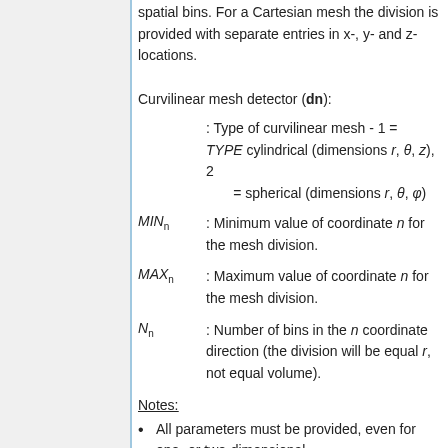spatial bins. For a Cartesian mesh the division is provided with separate entries in x-, y- and z- locations.
Curvilinear mesh detector (dn):
TYPE : Type of curvilinear mesh - 1 = cylindrical (dimensions r, θ, z), 2 = spherical (dimensions r, θ, φ)
MINn : Minimum value of coordinate n for the mesh division.
MAXn : Maximum value of coordinate n for the mesh division.
Nn : Number of bins in the n coordinate direction (the division will be equal r, not equal volume).
Notes:
All parameters must be provided, even for one- or two-dimensional